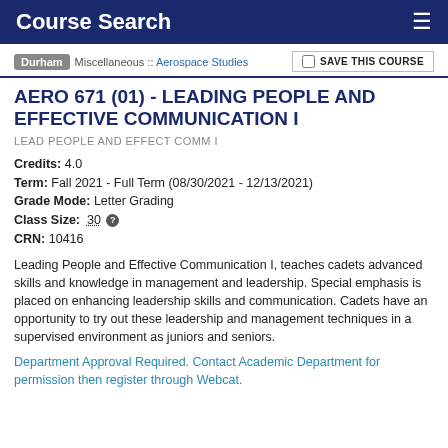Course Search
Durham :: Miscellaneous :: Aerospace Studies
SAVE THIS COURSE
AERO 671 (01) - LEADING PEOPLE AND EFFECTIVE COMMUNICATION I
LEAD PEOPLE AND EFFECT COMM I
Credits: 4.0
Term: Fall 2021 - Full Term (08/30/2021 - 12/13/2021)
Grade Mode: Letter Grading
Class Size: 30
CRN: 10416
Leading People and Effective Communication I, teaches cadets advanced skills and knowledge in management and leadership. Special emphasis is placed on enhancing leadership skills and communication. Cadets have an opportunity to try out these leadership and management techniques in a supervised environment as juniors and seniors.
Department Approval Required. Contact Academic Department for permission then register through Webcat.